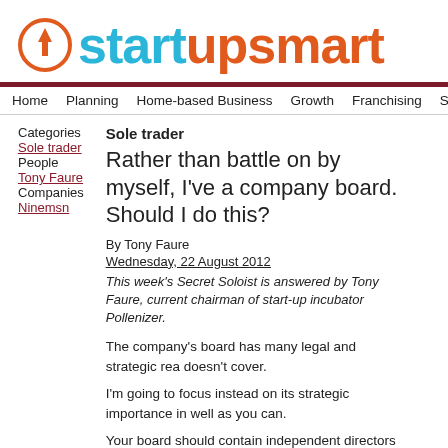[Figure (logo): StarupSmart logo with orange circle arrow icon and two-tone text: 'start' and 'up' in blue and orange, 'smart' in orange]
Home   Planning   Home-based Business   Growth   Franchising   Sales & M
Categories
Sole trader
People
Tony Faure
Companies
Ninemsn
Sole trader
Rather than battle on by myself, I've a company board. Should I do this?
By Tony Faure
Wednesday, 22 August 2012
This week's Secret Soloist is answered by Tony Faure, current chairman of start-up incubator Pollenizer.
The company's board has many legal and strategic rea doesn't cover.
I'm going to focus instead on its strategic importance in well as you can.
Your board should contain independent directors who a